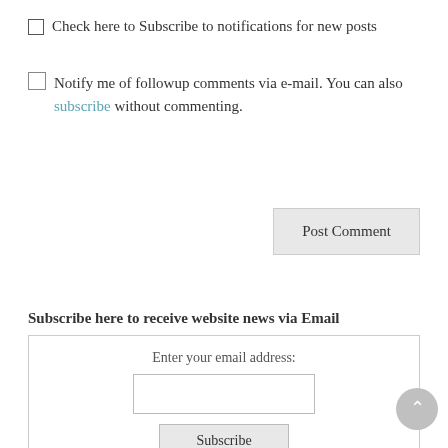Check here to Subscribe to notifications for new posts
Notify me of followup comments via e-mail. You can also subscribe without commenting.
[Figure (other): Post Comment button]
Subscribe here to receive website news via Email
[Figure (other): Email subscription box with input field, Subscribe button, and Delivered by FeedBurner text]